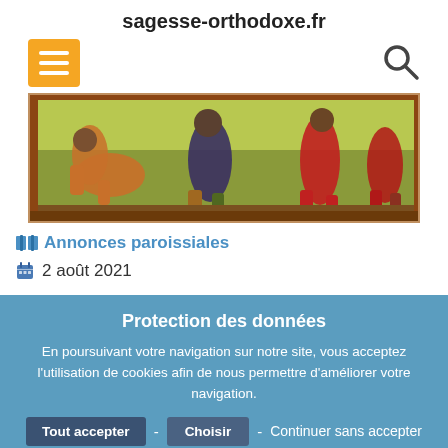sagesse-orthodoxe.fr
[Figure (screenshot): Navigation bar with orange hamburger menu button and search icon (magnifying glass)]
[Figure (photo): Cropped medieval religious icon painting showing figures in red and dark clothing on a greenish background with ornamental border]
Annonces paroissiales
2 août 2021
Protection des données
En poursuivant votre navigation sur notre site, vous acceptez l'utilisation de cookies afin de nous permettre d'améliorer votre navigation.
Tout accepter - Choisir - Continuer sans accepter